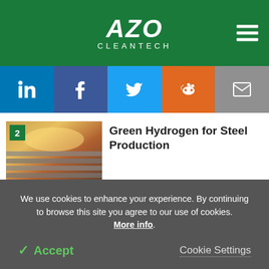AZO CLEANTECH
[Figure (screenshot): Social share bar with LinkedIn, Facebook, Twitter, Reddit, and Email icons]
[Figure (photo): Steel production facility with metal beams and bright light]
Green Hydrogen for Steel Production
[Figure (photo): Green leaf car representing hydrogen/electric vehicles]
Will Hydrogen Cars Replace Electric Cars?
We use cookies to enhance your experience. By continuing to browse this site you agree to our use of cookies. More info.
✓ Accept
Cookie Settings